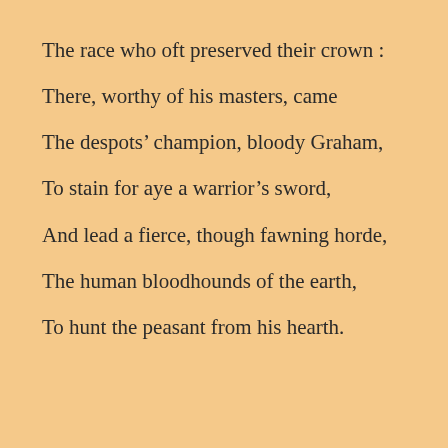The race who oft preserved their crown :
There, worthy of his masters, came
The despots’ champion, bloody Graham,
To stain for aye a warrior’s sword,
And lead a fierce, though fawning horde,
The human bloodhounds of the earth,
To hunt the peasant from his hearth.